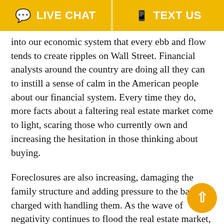LIVE CHAT   TEXT US
into our economic system that every ebb and flow tends to create ripples on Wall Street. Financial analysts around the country are doing all they can to instill a sense of calm in the American people about our financial system. Every time they do, more facts about a faltering real estate market come to light, scaring those who currently own and increasing the hesitation in those thinking about buying.
Foreclosures are also increasing, damaging the family structure and adding pressure to the banks charged with handling them. As the wave of negativity continues to flood the real estate market, the banking industry will only get pushed farther downstream, caught up in a torrent of scandal and mistrust.